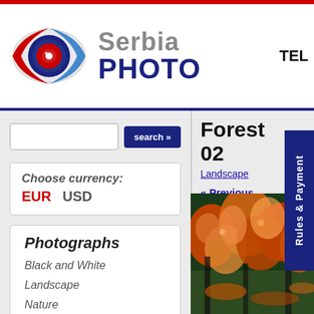[Figure (logo): Serbia Photo logo with camera eye icon and brand name]
TEL
search »
Choose currency: EUR  USD
Photographs
Black and White
Landscape
Nature
Life
Sport
Forest 02
Landscape
« Previous
Rules & Payment
[Figure (photo): Autumn forest scene with red and orange leaves on trees and ground]